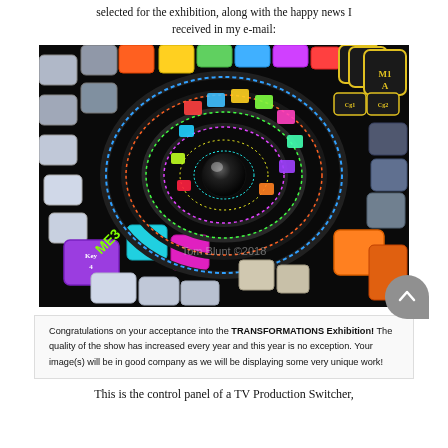selected for the exhibition, along with the happy news I received in my e-mail:
[Figure (photo): Spiral/tunnel of colorful keyboard keys with a black sphere at the center, watermarked 'Tom Blunt ©2018'. Keys in various colors: purple, cyan, orange, green, yellow, white. Dark background.]
Congratulations on your acceptance into the TRANSFORMATIONS Exhibition! The quality of the show has increased every year and this year is no exception. Your image(s) will be in good company as we will be displaying some very unique work!
This is the control panel of a TV Production Switcher,